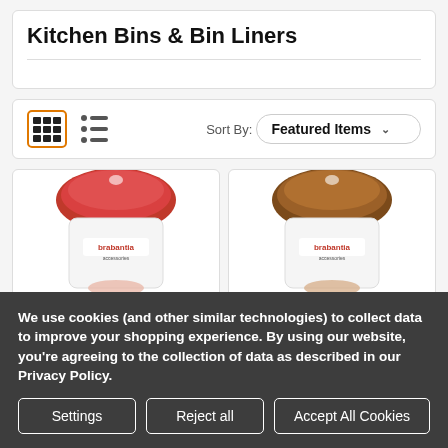Kitchen Bins & Bin Liners
Sort By: Featured Items
[Figure (photo): Two product cards showing Brabantia bin liner packages — left one with red packaging, right one with brown/copper packaging]
We use cookies (and other similar technologies) to collect data to improve your shopping experience. By using our website, you're agreeing to the collection of data as described in our Privacy Policy.
Settings | Reject all | Accept All Cookies